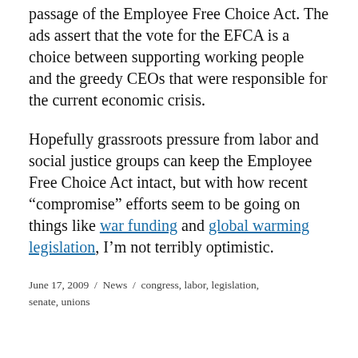passage of the Employee Free Choice Act. The ads assert that the vote for the EFCA is a choice between supporting working people and the greedy CEOs that were responsible for the current economic crisis.
Hopefully grassroots pressure from labor and social justice groups can keep the Employee Free Choice Act intact, but with how recent “compromise” efforts seem to be going on things like war funding and global warming legislation, I’m not terribly optimistic.
June 17, 2009 / News / congress, labor, legislation, senate, unions